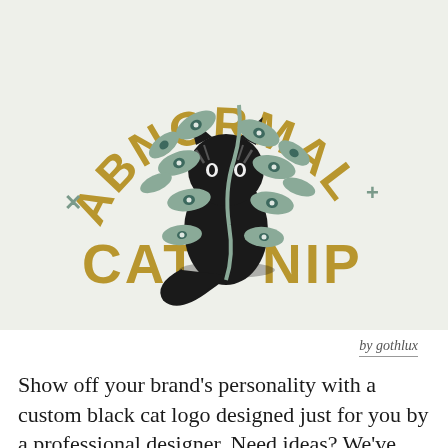[Figure (logo): Abnormal Catnip logo featuring a black cat sitting upright surrounded by a vine plant with eye-shaped leaves, text 'ABNORMAL' arched above in gold block letters and 'CATNIP' below in gold block letters, with decorative x and + symbols]
by gothlux
Show off your brand's personality with a custom black cat logo designed just for you by a professional designer. Need ideas? We've collected